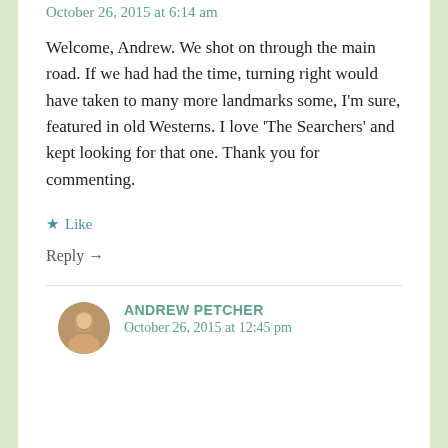October 26, 2015 at 6:14 am
Welcome, Andrew. We shot on through the main road. If we had had the time, turning right would have taken to many more landmarks some, I'm sure, featured in old Westerns. I love 'The Searchers' and kept looking for that one. Thank you for commenting.
★ Like
Reply →
ANDREW PETCHER
October 26, 2015 at 12:45 pm